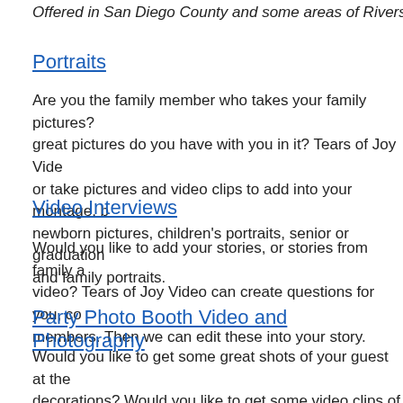Offered in San Diego County and some areas of Riverside,
Portraits
Are you the family member who takes your family pictures? great pictures do you have with you in it? Tears of Joy Vide or take pictures and video clips to add into your montage, b newborn pictures, children's portraits, senior or graduation and family portraits.
Video Interviews
Would you like to add your stories, or stories from family a video? Tears of Joy Video can create questions for you, co members. Then we can edit these into your story.
Party Photo Booth Video and Photography
Would you like to get some great shots of your guest at the decorations? Would you like to get some video clips of the speeches? Would you like to get a few interviews and well photo booth where guest can have fun with silly props and come to the party. We will capture special moments in pict